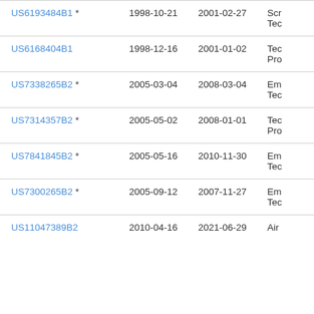| Patent Number | Filing Date | Publication Date | Assignee |
| --- | --- | --- | --- |
| US6193484B1 * | 1998-10-21 | 2001-02-27 | Scr
Tec |
| US6168404B1 | 1998-12-16 | 2001-01-02 | Tec
Pro |
| US7338265B2 * | 2005-03-04 | 2008-03-04 | Em
Tec |
| US7314357B2 * | 2005-05-02 | 2008-01-01 | Tec
Pro |
| US7841845B2 * | 2005-05-16 | 2010-11-30 | Em
Tec |
| US7300265B2 * | 2005-09-12 | 2007-11-27 | Em
Tec |
| US11047389B2 | 2010-04-16 | 2021-06-29 | Air |